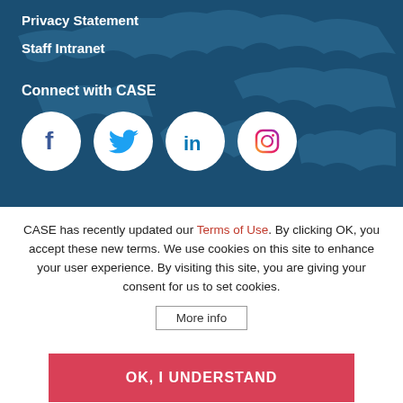Privacy Statement
Staff Intranet
Connect with CASE
[Figure (infographic): Four social media icons in white circles: Facebook, Twitter, LinkedIn, Instagram]
CASE has recently updated our Terms of Use. By clicking OK, you accept these new terms. We use cookies on this site to enhance your user experience. By visiting this site, you are giving your consent for us to set cookies.
More info
OK, I UNDERSTAND